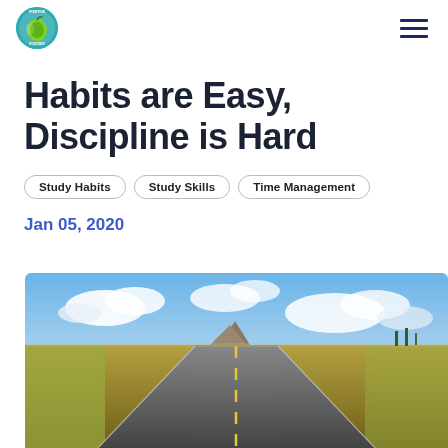Habits are Easy, Discipline is Hard
Study Habits
Study Skills
Time Management
Jan 05, 2020
[Figure (photo): A straight road extending to the horizon through flat grassland with a butte in the background under a partly cloudy blue sky.]